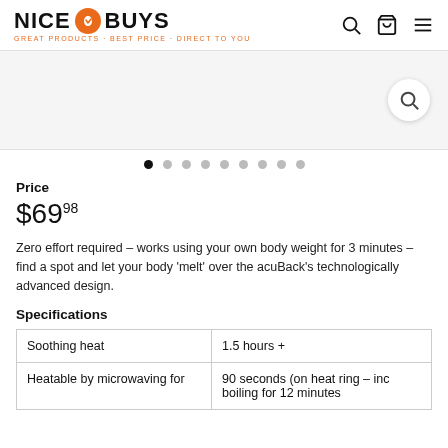NICE BUYS — GREAT PRODUCTS · BEST PRICE · DIRECT TO YOU
[Figure (screenshot): Product image area with zoom/search button on right side]
Carousel dot navigation: 9 dots, first active
Price
$69.98
Zero effort required – works using your own body weight for 3 minutes – find a spot and let your body 'melt' over the acuBack's technologically advanced design.
Specifications
| Feature | Value |
| --- | --- |
| Soothing heat | 1.5 hours + |
| Heatable by microwaving for | 90 seconds (on heat ring – inc boiling for 12 minutes |